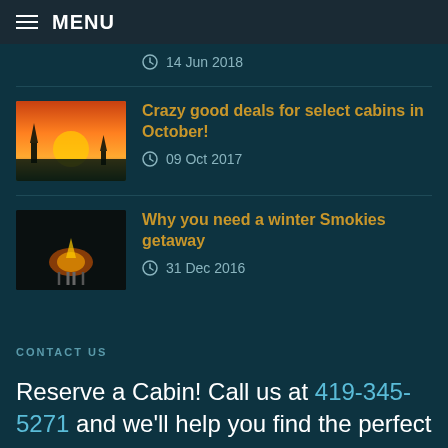MENU
14 Jun 2018
Crazy good deals for select cabins in October! — 09 Oct 2017
Why you need a winter Smokies getaway — 31 Dec 2016
CONTACT US
Reserve a Cabin! Call us at 419-345-5271 and we'll help you find the perfect rental for your next trip to the Smokies!